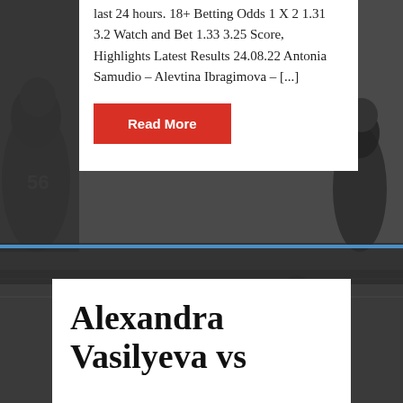[Figure (photo): Black and white photograph of football players in action on a field, visible on the left side and bottom portion of the page as background]
last 24 hours. 18+ Betting Odds 1 X 2 1.31 3.2 Watch and Bet 1.33 3.25 Score, Highlights Latest Results 24.08.22 Antonia Samudio – Alevtina Ibragimova – [...]
Read More
Alexandra Vasilyeva vs